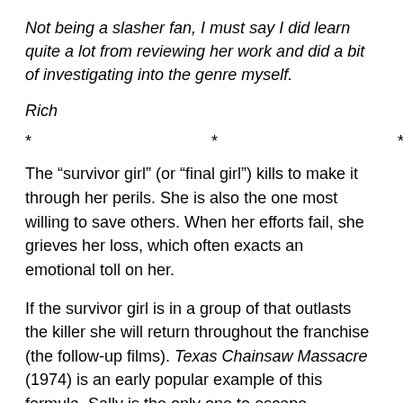Not being a slasher fan, I must say I did learn quite a lot from reviewing her work and did a bit of investigating into the genre myself.
Rich
* * *
The “survivor girl” (or “final girl”) kills to make it through her perils. She is also the one most willing to save others. When her efforts fail, she grieves her loss, which often exacts an emotional toll on her.
If the survivor girl is in a group of that outlasts the killer she will return throughout the franchise (the follow-up films). Texas Chainsaw Massacre (1974) is an early popular example of this formula. Sally is the only one to escape Leatherface (he is masked) by flagging down a truck…